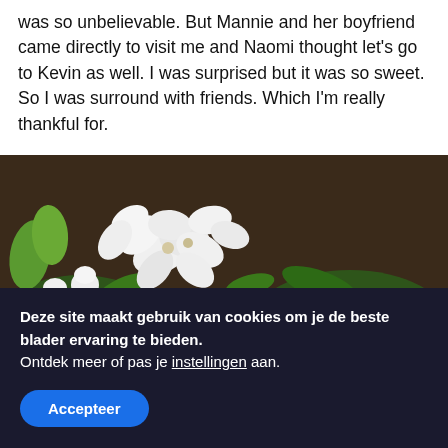was so unbelievable. But Mannie and her boyfriend came directly to visit me and Naomi thought let's go to Kevin as well. I was surprised but it was so sweet. So I was surround with friends. Which I'm really thankful for.
[Figure (photo): Close-up photograph of a flower bouquet featuring white orchids, white roses, a single dark red/crimson rose in the center, and green foliage, arranged on a wooden surface.]
Deze site maakt gebruik van cookies om je de beste blader ervaring te bieden.
Ontdek meer of pas je instellingen aan.
[Accepteer]